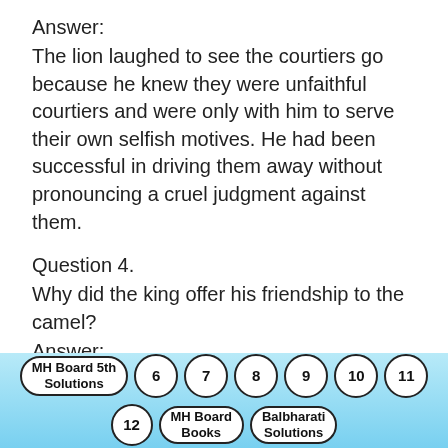Answer:
The lion laughed to see the courtiers go because he knew they were unfaithful courtiers and were only with him to serve their own selfish motives. He had been successful in driving them away without pronouncing a cruel judgment against them.
Question 4.
Why did the king offer his friendship to the camel?
Answer:
The king realized that his courtiers were unfaithful. In contrast, the camel was loyal and good. So, he offered friendship to the
MH Board 5th Solutions  6  7  8  9  10  11  12  MH Board Books  Balbharati Solutions